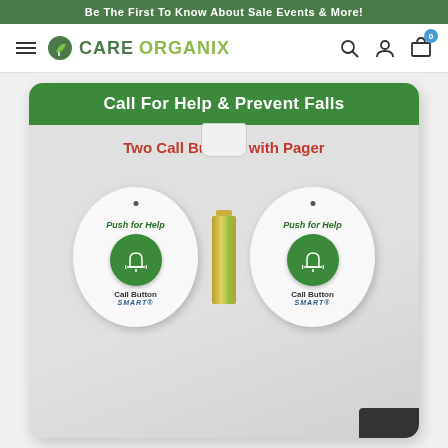Be The First To Know About Sale Events & More!
[Figure (logo): Care Organix logo with green leaf icon, hamburger menu icon, search icon, account icon, and cart icon with badge 0]
[Figure (photo): Product photo of two SMART Call Buttons with Pager in retail packaging. Package header reads 'Call For Help & Prevent Falls' in white on green background. Subtitle reads 'Two Call Buttons with Pager' in red. Two white circular call buttons labeled 'Push for Help' with green bell button and 'Call Button SMART' text, flanking a AA battery in center.]